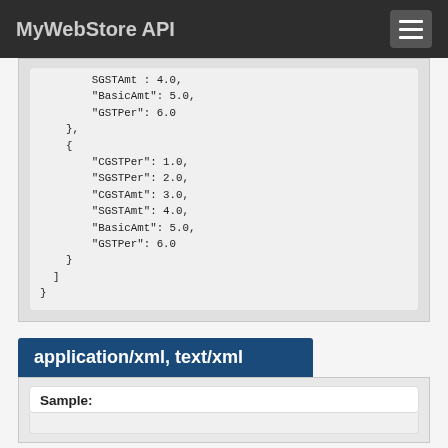MyWebStore API
SGSTAmt : 4.0,
    "BasicAmt": 5.0,
    "GSTPer": 6.0
},
{
    "CGSTPer": 1.0,
    "SGSTPer": 2.0,
    "CGSTAmt": 3.0,
    "SGSTAmt": 4.0,
    "BasicAmt": 5.0,
    "GSTPer": 6.0
}
]
application/xml, text/xml
Sample: